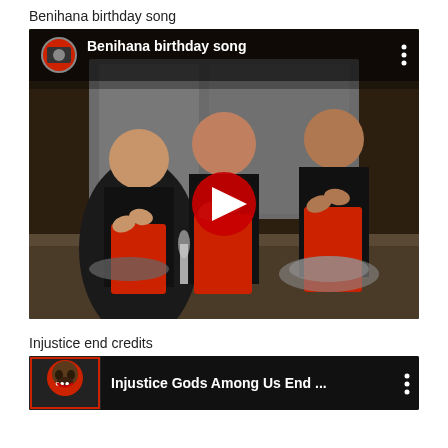Benihana birthday song
[Figure (screenshot): YouTube video thumbnail showing three Benihana restaurant staff members in black shirts and red aprons clapping, with a red YouTube play button overlay in the center. A video title bar at the top shows 'Benihana birthday song' with a circular channel thumbnail. A three-dot menu icon is visible top-right.]
Injustice end credits
[Figure (screenshot): YouTube video entry showing 'Injustice Gods Among Us End ...' title with a gorilla/character thumbnail on the left on a dark background, with a three-dot menu icon on the right.]